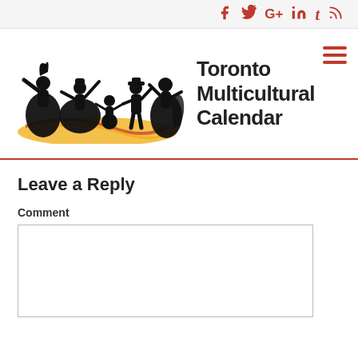Social media icons: Facebook, Twitter, Google+, LinkedIn, Tumblr, RSS
[Figure (logo): Toronto Multicultural Calendar logo — silhouettes of people in traditional cultural dress dancing, with orange/yellow swoosh background elements]
Toronto Multicultural Calendar
Leave a Reply
Comment